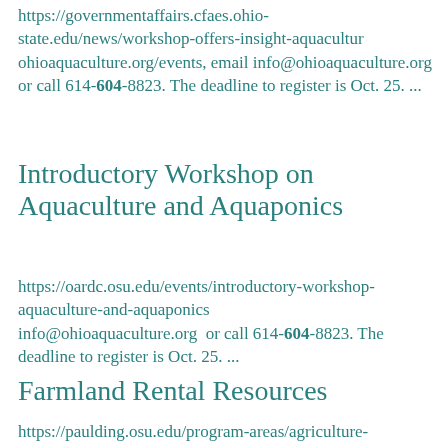https://governmentaffairs.cfaes.ohio-state.edu/news/workshop-offers-insight-aquacultur ohioaquaculture.org/events, email info@ohioaquaculture.org or call 614-604-8823. The deadline to register is Oct. 25. ...
Introductory Workshop on Aquaculture and Aquaponics
https://oardc.osu.edu/events/introductory-workshop-aquaculture-and-aquaponics info@ohioaquaculture.org  or call 614-604-8823. The deadline to register is Oct. 25. ...
Farmland Rental Resources
https://paulding.osu.edu/program-areas/agriculture-